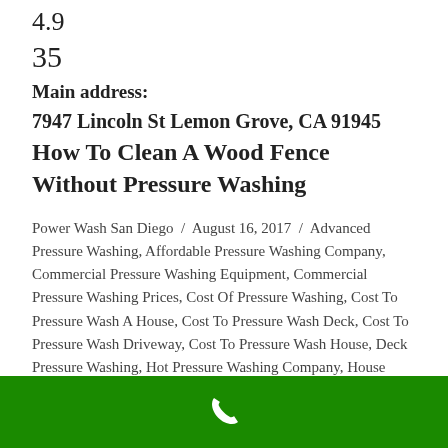4.9
35
Main address:
7947 Lincoln St Lemon Grove, CA 91945
How To Clean A Wood Fence Without Pressure Washing
Power Wash San Diego / August 16, 2017 / Advanced Pressure Washing, Affordable Pressure Washing Company, Commercial Pressure Washing Equipment, Commercial Pressure Washing Prices, Cost Of Pressure Washing, Cost To Pressure Wash A House, Cost To Pressure Wash Deck, Cost To Pressure Wash Driveway, Cost To Pressure Wash House, Deck Pressure Washing, Hot Pressure Washing Company, House Pressure Washing, How Long After Pressure Washing To Stain Deck, How Much Does It Cost To Pressure Wash A House, How Much Does Pressure
[Figure (other): Green footer bar with white phone icon]